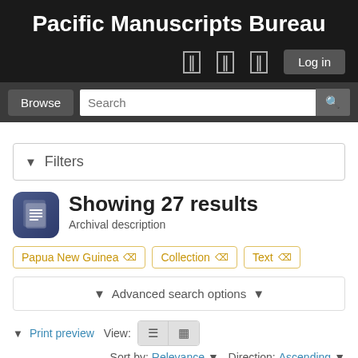Pacific Manuscripts Bureau
[Figure (screenshot): Navigation bar with icons and Log in button]
[Figure (screenshot): Browse button and Search input field]
Filters
Showing 27 results
Archival description
Papua New Guinea ×
Collection ×
Text ×
Advanced search options
Print preview  View:  Sort by: Relevance  Direction: Ascending